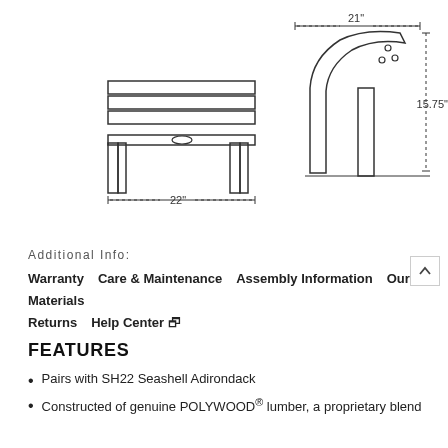[Figure (engineering-diagram): Front view of a footstool/ottoman with slatted top surface and four legs, with a 22 inch width dimension shown below, and a side profile view showing the curved seat/back piece with dimension 21 inches wide and 15.75 inches tall.]
Additional Info:
Warranty   Care & Maintenance   Assembly Information   Our Materials   Returns   Help Center
FEATURES
Pairs with SH22 Seashell Adirondack
Constructed of genuine POLYWOOD® lumber, a proprietary blend